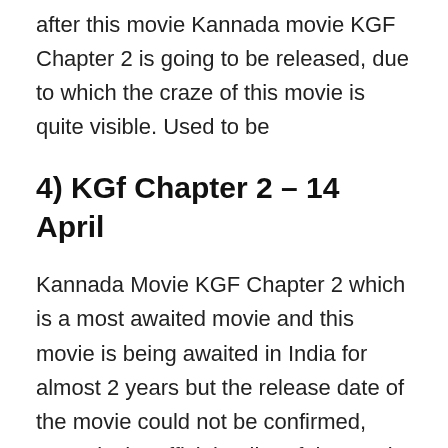after this movie Kannada movie KGF Chapter 2 is going to be released, due to which the craze of this movie is quite visible. Used to be
4) KGf Chapter 2 – 14 April
Kannada Movie KGF Chapter 2 which is a most awaited movie and this movie is being awaited in India for almost 2 years but the release date of the movie could not be confirmed, recently the official trailer of the movie was released and the movie was released. The release date has been confirmed, this movie will be released in theaters in India on 14th April 2022 There is going to be a lot of competition in the middle and it remains to